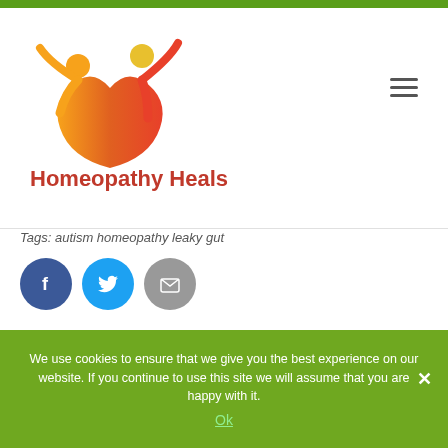[Figure (logo): Homeopathy Heals logo: two stylized figures forming a heart shape in red, orange, and yellow]
Homeopathy Heals
Tags: autism  homeopathy  leaky gut
[Figure (infographic): Social share icons: Facebook (dark blue circle with f), Twitter (light blue circle with bird), Email (grey circle with envelope)]
We use cookies to ensure that we give you the best experience on our website. If you continue to use this site we will assume that you are happy with it.
Ok